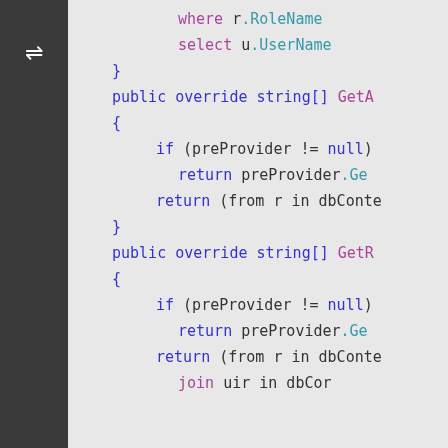[Figure (screenshot): Code editor screenshot showing C# code with syntax highlighting. Two methods visible: GetA and GetR (truncated), each with preProvider null checks and LINQ return statements. Code uses blue keywords, purple method names, and teal property names on a light gray background. Dark sidebar with shuffle icon on left.]